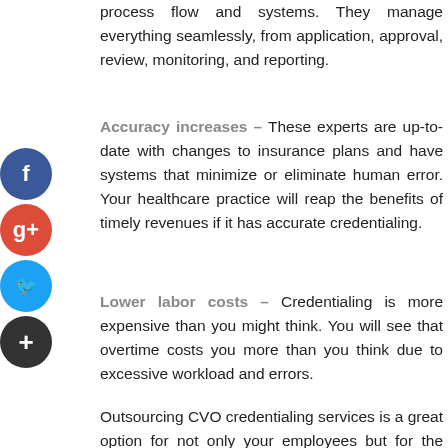process flow and systems. They manage everything seamlessly, from application, approval, review, monitoring, and reporting.
Accuracy increases – These experts are up-to-date with changes to insurance plans and have systems that minimize or eliminate human error. Your healthcare practice will reap the benefits of timely revenues if it has accurate credentialing.
Lower labor costs – Credentialing is more expensive than you might think. You will see that overtime costs you more than you think due to excessive workload and errors.
Outsourcing CVO credentialing services is a great option for not only your employees but for the entire organization.